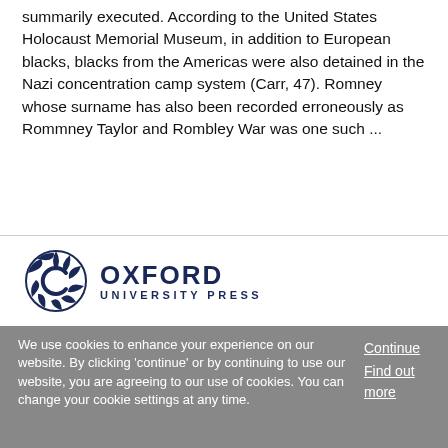summarily executed. According to the United States Holocaust Memorial Museum, in addition to European blacks, blacks from the Americas were also detained in the Nazi concentration camp system (Carr, 47). Romney whose surname has also been recorded erroneously as Rommney Taylor and Rombley War was one such ...
[Figure (logo): Oxford University Press logo with circular emblem and text]
We use cookies to enhance your experience on our website. By clicking 'continue' or by continuing to use our website, you are agreeing to our use of cookies. You can change your cookie settings at any time.
Continue
Find out more